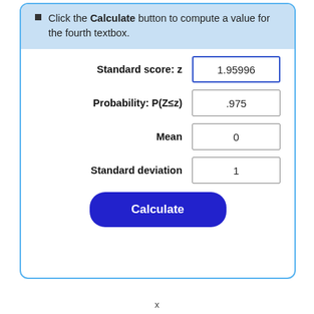Click the Calculate button to compute a value for the fourth textbox.
Standard score: z  1.95996
Probability: P(Z≤z)  .975
Mean  0
Standard deviation  1
Calculate
x